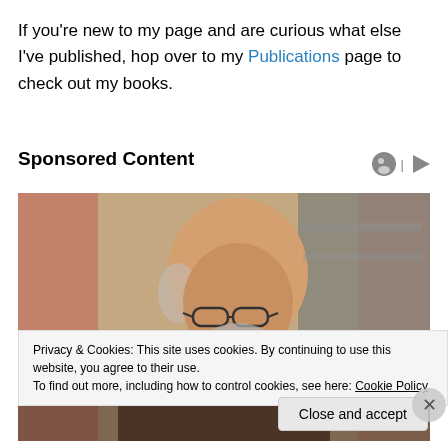If you're new to my page and are curious what else I've published, hop over to my Publications page to check out my books.
Sponsored Content
[Figure (photo): Elderly bearded man with glasses looking downward, wearing a brown jacket, in an indoor setting]
Privacy & Cookies: This site uses cookies. By continuing to use this website, you agree to their use.
To find out more, including how to control cookies, see here: Cookie Policy
Close and accept